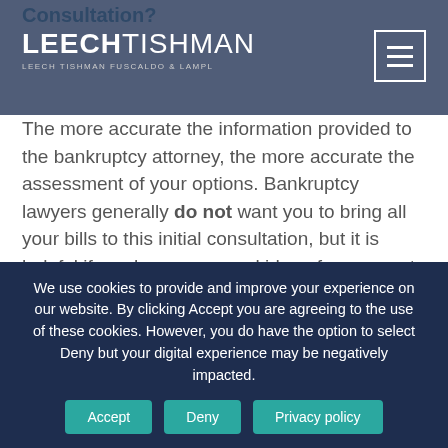Consultation?
LEECH TISHMAN | LEECH TISHMAN FUSCALDO & LAMPL
The more accurate the information provided to the bankruptcy attorney, the more accurate the assessment of your options. Bankruptcy lawyers generally do not want you to bring all your bills to this initial consultation, but it is helpful if you have a general idea of your assets and their value, your debts, and your income. Many people bring a list or spreadsheet that includes this information.
If you have been sued, you should bring a copy of all of
We use cookies to provide and improve your experience on our website. By clicking Accept you are agreeing to the use of these cookies. However, you do have the option to select Deny but your digital experience may be negatively impacted.
Accept
Deny
Privacy policy